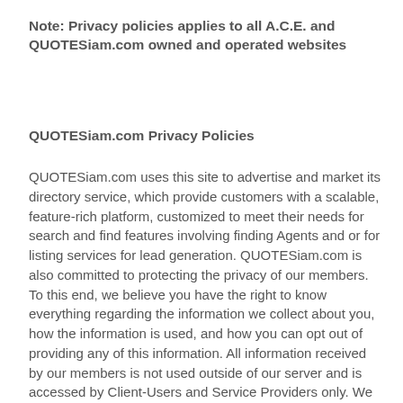Note: Privacy policies applies to all A.C.E. and QUOTESiam.com owned and operated websites
QUOTESiam.com Privacy Policies
QUOTESiam.com uses this site to advertise and market its directory service, which provide customers with a scalable, feature-rich platform, customized to meet their needs for search and find features involving finding Agents and or for listing services for lead generation. QUOTESiam.com is also committed to protecting the privacy of our members. To this end, we believe you have the right to know everything regarding the information we collect about you, how the information is used, and how you can opt out of providing any of this information. All information received by our members is not used outside of our server and is accessed by Client-Users and Service Providers only. We will not use any information in any way other than for the sole purpose of communications between QUOTESiam.com employees, members, Client-Users, and Agents. By using this site, you indicate your acceptance of